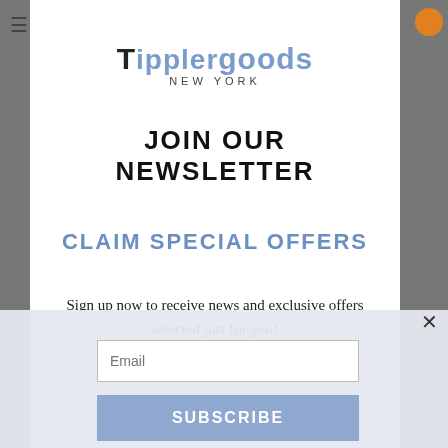[Figure (screenshot): Tippler Goods New York logo with stylized text, 'Tippler' in black bold and 'goods' in blue/gray]
JOIN OUR NEWSLETTER
CLAIM SPECIAL OFFERS
Sign up now to receive news and exclusive offers selected just for you!
This website uses cookies to ensure you get the best experience.
Email
SUBSCRIBE
Decline
Accept